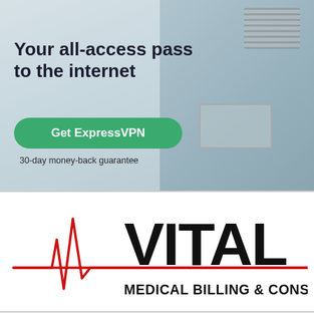[Figure (illustration): ExpressVPN advertisement banner with a woman sitting on the floor using a laptop. Text overlay reads 'Your all-access pass to the internet' with a green 'Get ExpressVPN' button and '30-day money-back guarantee' text below.]
[Figure (logo): Vital Medical Billing & Consulting logo: red ECG/heartbeat line graphic on the left, large bold black text 'VITAL' on the right, and 'MEDICAL BILLING & CONSULTING' in bold black text below.]